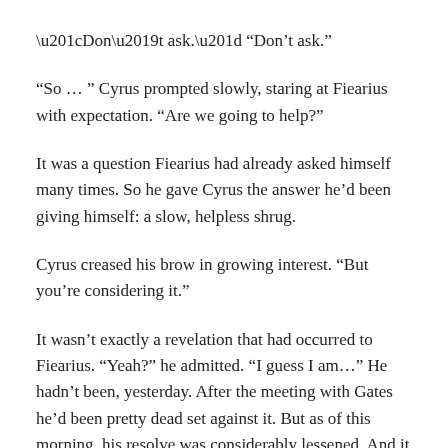“Don’t ask.”
“So … ” Cyrus prompted slowly, staring at Fiearius with expectation. “Are we going to help?”
It was a question Fiearius had already asked himself many times. So he gave Cyrus the answer he’d been giving himself: a slow, helpless shrug.
Cyrus creased his brow in growing interest. “But you’re considering it.”
It wasn’t exactly a revelation that had occurred to Fiearius. “Yeah?” he admitted. “I guess I am…” He hadn’t been, yesterday. After the meeting with Gates he’d been pretty dead set against it. But as of this morning, his resolve was considerably lessened. And it only took a few moments to realize why.